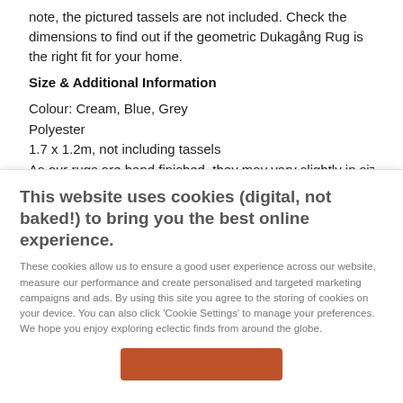note, the pictured tassels are not included. Check the dimensions to find out if the geometric Dukagång Rug is the right fit for your home.
Size & Additional Information
Colour: Cream, Blue, Grey
Polyester
1.7 x 1.2m, not including tassels
As our rugs are hand finished, they may vary slightly in size
This website uses cookies (digital, not baked!) to bring you the best online experience.
These cookies allow us to ensure a good user experience across our website, measure our performance and create personalised and targeted marketing campaigns and ads. By using this site you agree to the storing of cookies on your device. You can also click 'Cookie Settings' to manage your preferences. We hope you enjoy exploring eclectic finds from around the globe.